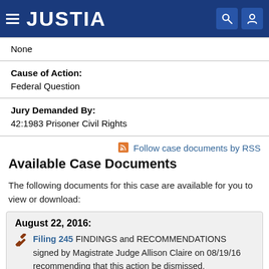JUSTIA
| Cause of Action: | Federal Question |
| Jury Demanded By: | 42:1983 Prisoner Civil Rights |
Follow case documents by RSS
Available Case Documents
The following documents for this case are available for you to view or download:
August 22, 2016: Filing 245 FINDINGS and RECOMMENDATIONS signed by Magistrate Judge Allison Claire on 08/19/16 recommending that this action be dismissed.